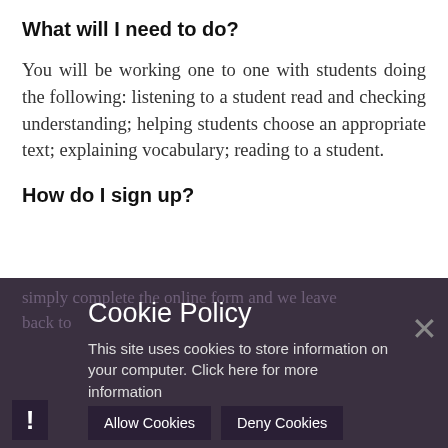What will I need to do?
You will be working one to one with students doing the following: listening to a student read and checking understanding; helping students choose an appropriate text; explaining vocabulary; reading to a student.
How do I sign up?
[Figure (screenshot): Cookie policy overlay popup with title 'Cookie Policy', text 'This site uses cookies to store information on your computer. Click here for more information', with 'Allow Cookies' and 'Deny Cookies' buttons, close X button, and exclamation mark icon. The overlay is dark purple/grey overlaying the page content below.]